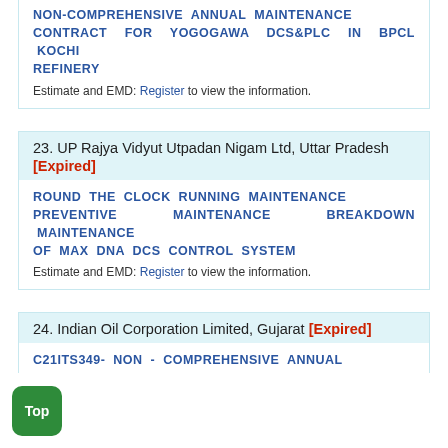NON-COMPREHENSIVE ANNUAL MAINTENANCE CONTRACT FOR YOGOGAWA DCS&PLC IN BPCL KOCHI REFINERY
Estimate and EMD: Register to view the information.
23. UP Rajya Vidyut Utpadan Nigam Ltd, Uttar Pradesh [Expired]
ROUND THE CLOCK RUNNING MAINTENANCE PREVENTIVE MAINTENANCE BREAKDOWN MAINTENANCE OF MAX DNA DCS CONTROL SYSTEM
Estimate and EMD: Register to view the information.
24. Indian Oil Corporation Limited, Gujarat [Expired]
C21ITS349- NON - COMPREHENSIVE ANNUAL